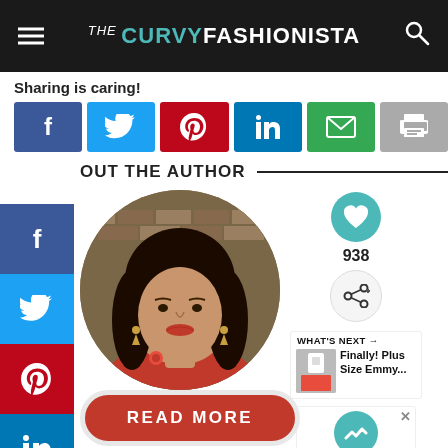the CURVY FASHIONISTA
Sharing is caring!
[Figure (infographic): Social share buttons: Facebook, Twitter, Pinterest, LinkedIn, Email, Print]
OUT THE AUTHOR
[Figure (photo): Circular author photo of a young woman with long dark curly hair, red dress, ornate earrings]
READ MORE
938
WHAT'S NEXT → Finally! Plus Size Emmy...